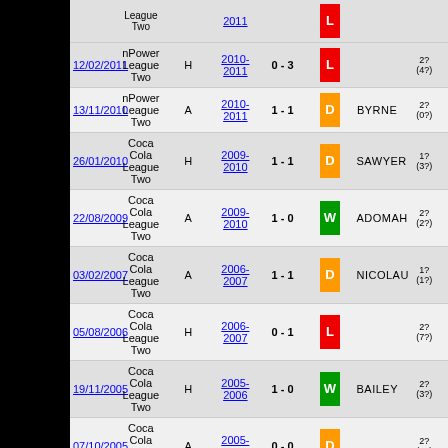| Date | Competition | H/A | Season | Score | Result | Scorer | Att |
| --- | --- | --- | --- | --- | --- | --- | --- |
| 12/02/2011 | nPower League Two | H | 2010-2011 | 0 - 3 | L |  | 2?(4?) |
| 13/11/2010 | nPower League Two | A | 2010-2011 | 1 - 1 | D | BYRNE | 2?(0?) |
| 26/01/2010 | Coca Cola League Two | H | 2009-2010 | 1 - 1 | D | SAWYER | 1?(3?) |
| 22/08/2009 | Coca Cola League Two | A | 2009-2010 | 1 - 0 | W | ADOMAH | 2?(2?) |
| 03/02/2007 | Coca Cola League Two | A | 2006-2007 | 1 - 1 | D | NICOLAU | 1?(1?) |
| 05/08/2006 | Coca Cola League Two | H | 2006-2007 | 0 - 1 | L |  | 2?(7?) |
| 19/11/2005 | Coca Cola League Two | H | 2005-2006 | 1 - 0 | W | BAILEY | 2?(3?) |
| 07/10/2005 | Coca Cola League Two | A | 2005-2006 | 0 - 0 | D |  | 2?(2?) |
| 05/05/2001 | Nationwide League Division Three | H | 2000-2001 | 2 - 3 | L | OWN GOAL, HEALD | 50? |
| 25/11/2000 | Nationwide League Division Three | A | 2000-2001 | 1 - 2 | L | RICHARDS | 17? |
| 23/10/1999 | Nationwide League Division Three | H | 1999-2000 | 1 - 2 | L | CHARLERY | 2? |
| ? | Nationwide ... |  |  |  |  |  |  |